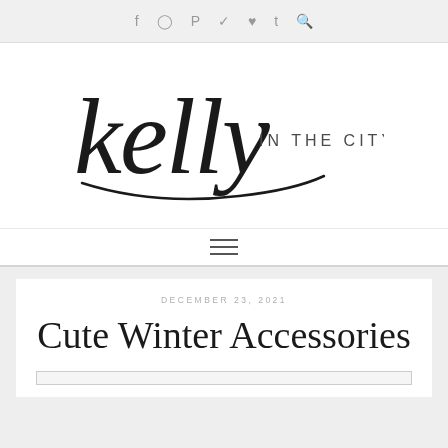f  ☖  ☙  ✦  ♥  t  🔍
[Figure (logo): Kelly in the City cursive script logo with 'kelly' in large flowing black calligraphy and 'IN THE CITY' in small spaced capital letters]
≡ (navigation hamburger menu)
DECEMBER 23, 2021
Cute Winter Accessories